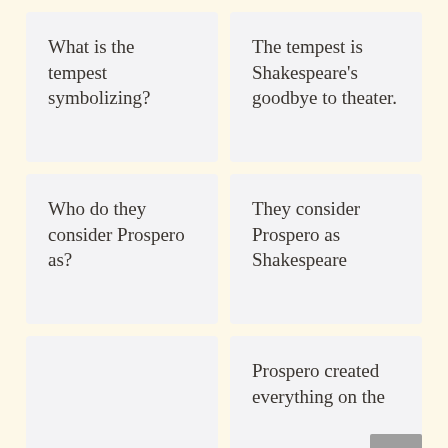What is the tempest symbolizing?
The tempest is Shakespeare’s goodbye to theater.
Who do they consider Prospero as?
They consider Prospero as Shakespeare
Prospero created everything on the